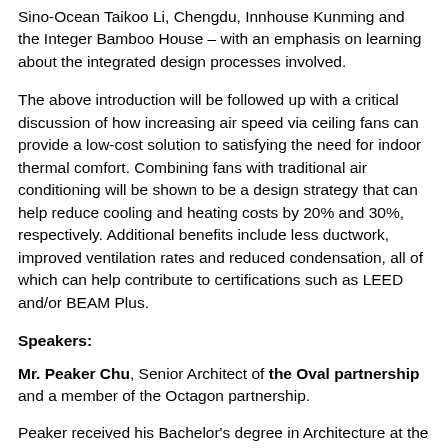Sino-Ocean Taikoo Li, Chengdu, Innhouse Kunming and the Integer Bamboo House – with an emphasis on learning about the integrated design processes involved.
The above introduction will be followed up with a critical discussion of how increasing air speed via ceiling fans can provide a low-cost solution to satisfying the need for indoor thermal comfort. Combining fans with traditional air conditioning will be shown to be a design strategy that can help reduce cooling and heating costs by 20% and 30%, respectively. Additional benefits include less ductwork, improved ventilation rates and reduced condensation, all of which can help contribute to certifications such as LEED and/or BEAM Plus.
Speakers:
Mr. Peaker Chu, Senior Architect of the Oval partnership and a member of the Octagon partnership.
Peaker received his Bachelor's degree in Architecture at the University of Hong Kong(HKU) and his Masters degree in Architecture at the Bartlett School of Architecture at University College London (UCL). He joined the Oval